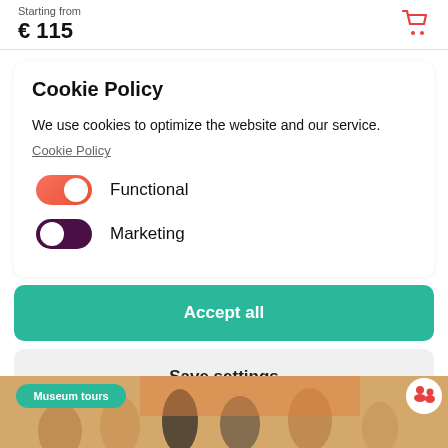Starting from € 115
Cookie Policy
We use cookies to optimize the website and our service.
Cookie Policy
Functional (toggle on)
Marketing (toggle off)
Accept all
Save settings
[Figure (photo): Museum tours photo showing people in a group tour setting with an orange background, with a Museum tours tag and group icon overlay]